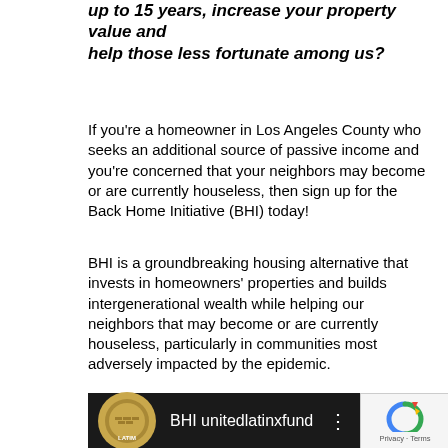up to 15 years, increase your property value and help those less fortunate among us?
If you're a homeowner in Los Angeles County who seeks an additional source of passive income and you're concerned that your neighbors may become or are currently houseless, then sign up for the Back Home Initiative (BHI) today!
BHI is a groundbreaking housing alternative that invests in homeowners' properties and builds intergenerational wealth while helping our neighbors that may become or are currently houseless, particularly in communities most adversely impacted by the epidemic.
[Figure (screenshot): Video thumbnail with dark background showing a circular logo for United Latinx Fund and text 'BHI unitedlatinxfund', with a three-dot menu icon. A reCAPTCHA box appears in the bottom-right corner.]